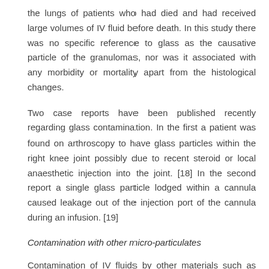the lungs of patients who had died and had received large volumes of IV fluid before death. In this study there was no specific reference to glass as the causative particle of the granulomas, nor was it associated with any morbidity or mortality apart from the histological changes.
Two case reports have been published recently regarding glass contamination. In the first a patient was found on arthroscopy to have glass particles within the right knee joint possibly due to recent steroid or local anaesthetic injection into the joint. [18] In the second report a single glass particle lodged within a cannula caused leakage out of the injection port of the cannula during an infusion. [19]
Contamination with other micro-particulates
Contamination of IV fluids by other materials such as rubber or cellulose has also been shown to occur and these particulates may have similar effects to glass. A review of relevant work concluded however, that although pathological changes had been associated with these various contaminants in both human